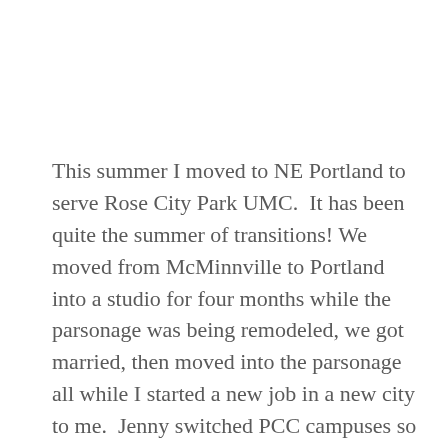This summer I moved to NE Portland to serve Rose City Park UMC.  It has been quite the summer of transitions! We moved from McMinnville to Portland into a studio for four months while the parsonage was being remodeled, we got married, then moved into the parsonage all while I started a new job in a new city to me.  Jenny switched PCC campuses so kinda started a new job. All the while, we have been figuring out what it means to be in Portland.
(partial line cut off at bottom)